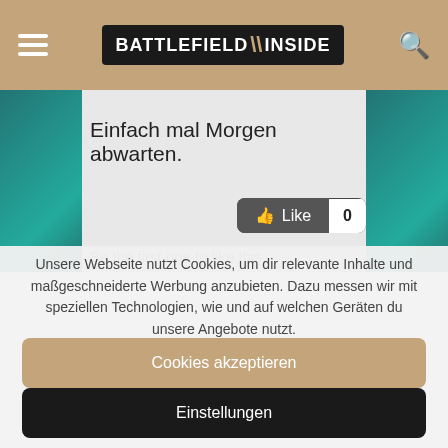BATTLEFIELD INSIDE
Einfach mal Morgen abwarten.
Like 0
Be the first one to like this.
Unsere Webseite nutzt Cookies, um dir relevante Inhalte und maßgeschneiderte Werbung anzubieten. Dazu messen wir mit speziellen Technologien, wie und auf welchen Geräten du unsere Angebote nutzt.
Cookies akzeptieren
Einstellungen
überhaupt anzufassen.